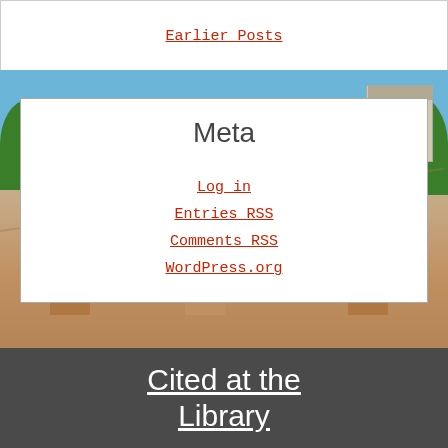Earlier Posts
Meta
Log in
Entries RSS
Comments RSS
WordPress.org
[Figure (photo): Campus plaza with brick pavement, stone pillars, trees, and a building in the background under a blue sky]
Cited at the Library